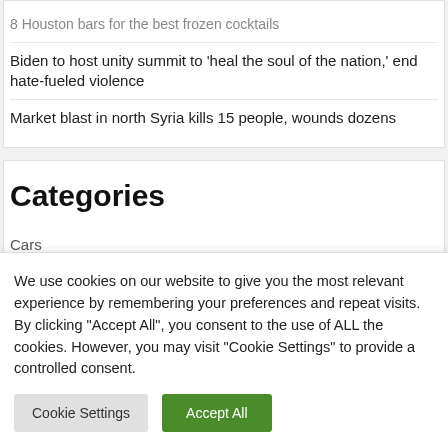8 Houston bars for the best frozen cocktails
Biden to host unity summit to ‘heal the soul of the nation,’ end hate-fueled violence
Market blast in north Syria kills 15 people, wounds dozens
Categories
Cars
Culture
We use cookies on our website to give you the most relevant experience by remembering your preferences and repeat visits. By clicking “Accept All”, you consent to the use of ALL the cookies. However, you may visit “Cookie Settings” to provide a controlled consent.